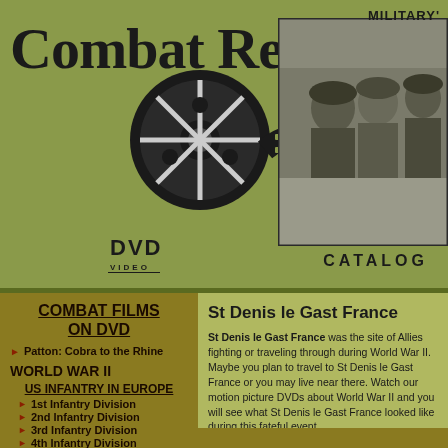MILITARY'
Combat Reels
[Figure (illustration): Film reel and filmstrip graphic with DVD logo]
[Figure (photo): Black and white photograph of soldiers in World War II]
CATALOG
COMBAT FILMS ON DVD
Patton: Cobra to the Rhine
WORLD WAR II
US INFANTRY IN EUROPE
1st Infantry Division
2nd Infantry Division
3rd Infantry Division
4th Infantry Division
5th Infantry Division
8th Infantry Division
9th Infantry Division
28th Infantry Division
29th Infantry Division
30th Infantry Division
35th Infantry Division
St Denis le Gast France
St Denis le Gast France was the site of Allies fighting or traveling through during World War II. Maybe you plan to travel to St Denis le Gast France or you may live near there. Watch our motion picture DVDs about World War II and you will see what St Denis le Gast France looked like during this fateful event.
This raw movie film footage was shot by Army Signal Corps Photographers and brought to you by Combat Reels.
2nd AD in Normandy, (Chapter 2
2nd AD in Normandy (Chapter 2
2nd AD in Normandy (Chapter 2